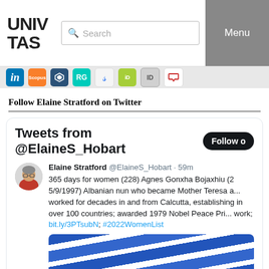UNIV TAS | Search | Menu
[Figure (screenshot): Social media icon bar with LinkedIn, Scopus, Semantic Scholar, ResearchGate, Google Scholar, ORCID, ID, and chat icons]
Follow Elaine Stratford on Twitter
[Figure (screenshot): Embedded Twitter widget showing tweets from @ElaineS_Hobart with a tweet by Elaine Stratford about 365 days for women (228) Agnes Gonxha Bojaxhiu, 5/9/1997, Albanian nun who became Mother Teresa and worked for decades in and from Calcutta, establishing in over 100 countries; awarded 1979 Nobel Peace Prize for her work; with links bit.ly/3PTsubN and #2022WomenList]
365 days for women (228) Agnes Gonxha Bojaxhiu (2 5/9/1997) Albanian nun who became Mother Teresa a... worked for decades in and from Calcutta, establishing in over 100 countries; awarded 1979 Nobel Peace Pri... work; bit.ly/3PTsubN; #2022WomenList